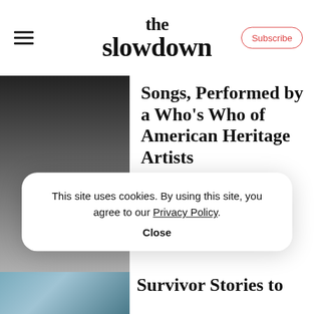the slowdown | Subscribe
Songs, Performed by a Who's Who of American Heritage Artists
On the whole, a cover song rarely captures the sonic greatness of th...
Hear
This site uses cookies. By using this site, you agree to our Privacy Policy. Close
Survivor Stories to